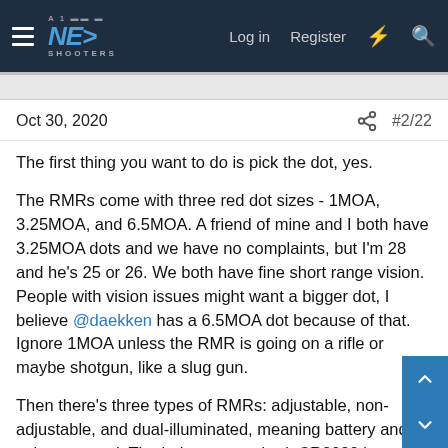NE Shooters — Log in | Register
Oct 30, 2020  #2/22
The first thing you want to do is pick the dot, yes.
The RMRs come with three red dot sizes - 1MOA, 3.25MOA, and 6.5MOA. A friend of mine and I both have 3.25MOA dots and we have no complaints, but I'm 28 and he's 25 or 26. We both have fine short range vision. People with vision issues might want a bigger dot, I believe @daekken has a 6.5MOA dot because of that. Ignore 1MOA unless the RMR is going on a rifle or maybe shotgun, like a slug gun.
Then there's three types of RMRs: adjustable, non-adjustable, and dual-illuminated, meaning battery and solar powered. The industry-standard, CR2032 batteries on RMRs have a pretty long shelf life, I think around five years in theory, but most guys change their batteries out once a year. The adjustable RMR is the best option for most people and has a bunch of settings for everything from low light settings for night vision users to bright